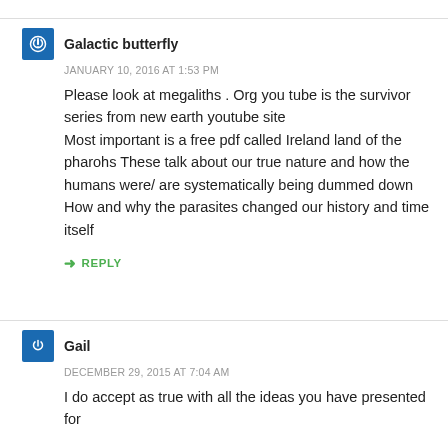Galactic butterfly
JANUARY 10, 2016 AT 1:53 PM
Please look at megaliths . Org you tube is the survivor series from new earth youtube site
Most important is a free pdf called Ireland land of the pharohs These talk about our true nature and how the humans were/ are systematically being dummed down
How and why the parasites changed our history and time itself
REPLY
Gail
DECEMBER 29, 2015 AT 7:04 AM
I do accept as true with all the ideas you have presented for